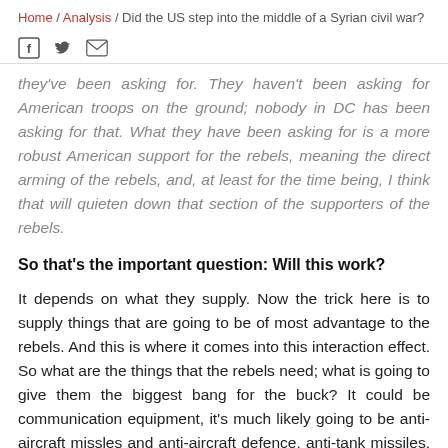Home / Analysis / Did the US step into the middle of a Syrian civil war?
they've been asking for. They haven't been asking for American troops on the ground; nobody in DC has been asking for that. What they have been asking for is a more robust American support for the rebels, meaning the direct arming of the rebels, and, at least for the time being, I think that will quieten down that section of the supporters of the rebels.
So that's the important question: Will this work?
It depends on what they supply. Now the trick here is to supply things that are going to be of most advantage to the rebels. And this is where it comes into this interaction effect. So what are the things that the rebels need; what is going to give them the biggest bang for the buck? It could be communication equipment, it's much likely going to be anti-aircraft missles and anti-aircraft defence, anti-tank missiles. The problem though there is that these are the